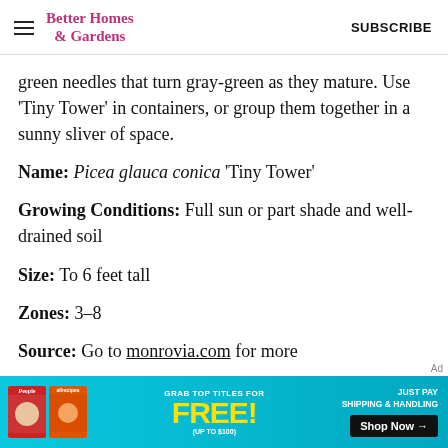Better Homes & Gardens   SUBSCRIBE
green needles that turn gray-green as they mature. Use 'Tiny Tower' in containers, or group them together in a sunny sliver of space.
Name: Picea glauca conica 'Tiny Tower'
Growing Conditions: Full sun or part shade and well-drained soil
Size: To 6 feet tall
Zones: 3–8
Source: Go to monrovia.com for more
[Figure (other): Advertisement banner for magazine subscription offer — People and allrecipes magazines, 'GRAB TOP TITLES FOR FREE! (UP TO $100)', 'JUST PAY SHIPPING & HANDLING', 'Shop Now →' button on teal/cyan background.]